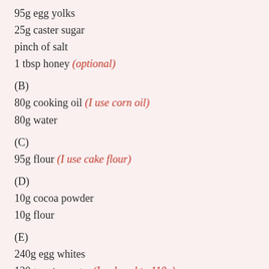95g egg yolks
25g caster sugar
pinch of salt
1 tbsp honey (optional)
(B)
80g cooking oil (I use corn oil)
80g water
(C)
95g flour (I use cake flour)
(D)
10g cocoa powder
10g flour
(E)
240g egg whites
120g caster sugar (I reduced to 110g)
15g corn flour
Method:
1. Cream ingredient (A) with hand whisk till sugar dissolved